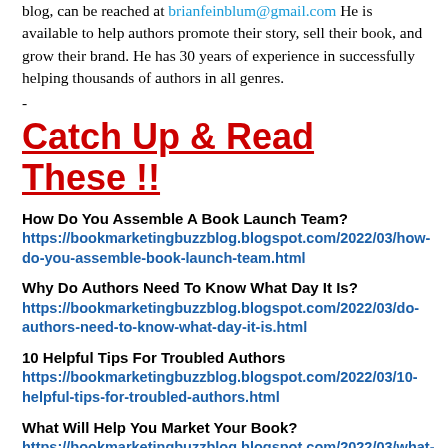blog, can be reached at brianfeinblum@gmail.com He is available to help authors promote their story, sell their book, and grow their brand. He has 30 years of experience in successfully helping thousands of authors in all genres.
-
Catch Up & Read These !!
How Do You Assemble A Book Launch Team?
https://bookmarketingbuzzblog.blogspot.com/2022/03/how-do-you-assemble-book-launch-team.html
Why Do Authors Need To Know What Day It Is?
https://bookmarketingbuzzblog.blogspot.com/2022/03/do-authors-need-to-know-what-day-it-is.html
10 Helpful Tips For Troubled Authors
https://bookmarketingbuzzblog.blogspot.com/2022/03/10-helpful-tips-for-troubled-authors.html
What Will Help You Market Your Book?
https://bookmarketingbuzzblog.blogspot.com/2022/03/what-will-help-you-market-your-book.html